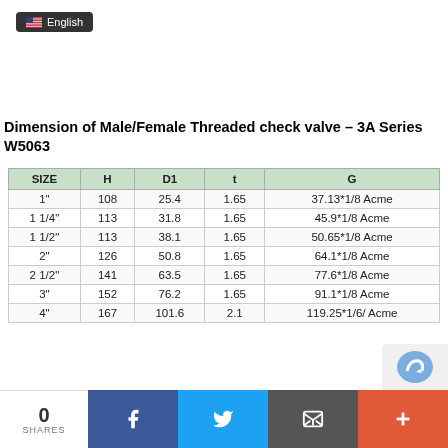[Figure (screenshot): English language selector button with US flag icon]
Dimension of Male/Female Threaded check valve – 3A Series W5063
| SIZE | H | D1 | t | G |
| --- | --- | --- | --- | --- |
| 1" | 108 | 25.4 | 1.65 | 37.13*1/8 Acme |
| 1 1/4" | 113 | 31.8 | 1.65 | 45.9*1/8 Acme |
| 1 1/2" | 113 | 38.1 | 1.65 | 50.65*1/8 Acme |
| 2" | 126 | 50.8 | 1.65 | 64.1*1/8 Acme |
| 2 1/2" | 141 | 63.5 | 1.65 | 77.6*1/8 Acme |
| 3" | 152 | 76.2 | 1.65 | 91.1*1/8 Acme |
| 4" | 167 | 101.6 | 2.1 | 119.25*1/6/ Acme |
[Figure (logo): reCAPTCHA widget partial view]
0 SHARES | Facebook | Twitter | Email | Plus